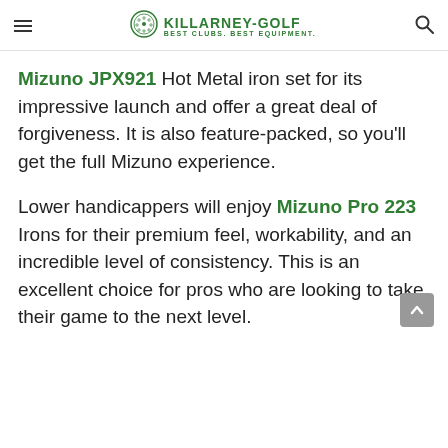KILLARNEY-GOLF BEST CLUBS. BEST EQUIPMENT.
Mizuno JPX921 Hot Metal iron set for its impressive launch and offer a great deal of forgiveness. It is also feature-packed, so you'll get the full Mizuno experience.
Lower handicappers will enjoy Mizuno Pro 223 Irons for their premium feel, workability, and an incredible level of consistency. This is an excellent choice for pros who are looking to take their game to the next level.